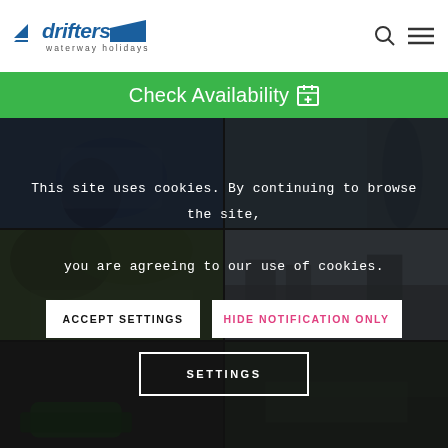[Figure (logo): Drifters Waterway Holidays logo with boat icons and italic text]
Check Availability
[Figure (photo): Four photo grid showing waterway holiday scenes: people on boats, canal locks, waterway towns]
This site uses cookies. By continuing to browse the site, you are agreeing to our use of cookies.
ACCEPT SETTINGS
HIDE NOTIFICATION ONLY
SETTINGS